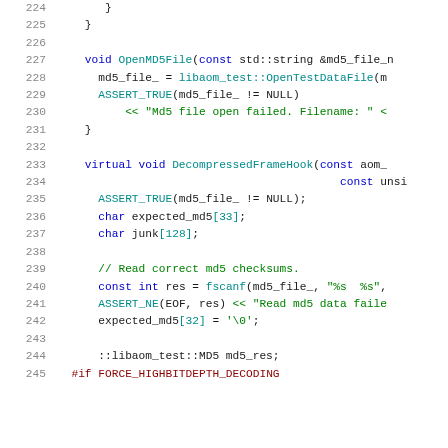Source code listing, lines 224-245, C++ code with syntax highlighting
224   }
225   }
226
227   void OpenMD5File(const std::string &md5_file_n
228     md5_file_ = libaom_test::OpenTestDataFile(m
229     ASSERT_TRUE(md5_file_ != NULL)
230       << "Md5 file open failed. Filename: " <
231   }
232
233   virtual void DecompressedFrameHook(const aom_
234                                         const unsi
235     ASSERT_TRUE(md5_file_ != NULL);
236     char expected_md5[33];
237     char junk[128];
238
239     // Read correct md5 checksums.
240     const int res = fscanf(md5_file_, "%s  %s",
241     ASSERT_NE(EOF, res) << "Read md5 data faile
242     expected_md5[32] = '\0';
243
244     ::libaom_test::MD5 md5_res;
245   #if FORCE_HIGHBITDEPTH_DECODING